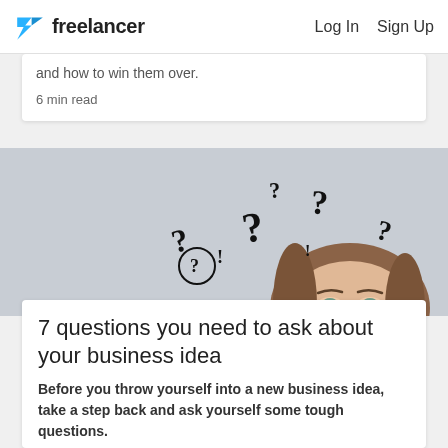freelancer  Log In  Sign Up
and how to win them over.
6 min read
[Figure (photo): Woman looking up with question marks drawn above her head on a grey background]
7 questions you need to ask about your business idea
Before you throw yourself into a new business idea, take a step back and ask yourself some tough questions.
5 min read